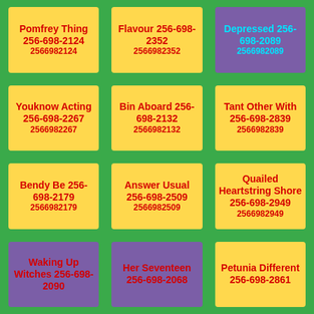Pomfrey Thing 256-698-2124 2566982124
Flavour 256-698-2352 2566982352
Depressed 256-698-2089 2566982089
Youknow Acting 256-698-2267 2566982267
Bin Aboard 256-698-2132 2566982132
Tant Other With 256-698-2839 2566982839
Bendy Be 256-698-2179 2566982179
Answer Usual 256-698-2509 2566982509
Quailed Heartstring Shore 256-698-2949 2566982949
Waking Up Witches 256-698-2090
Her Seventeen 256-698-2068
Petunia Different 256-698-2861